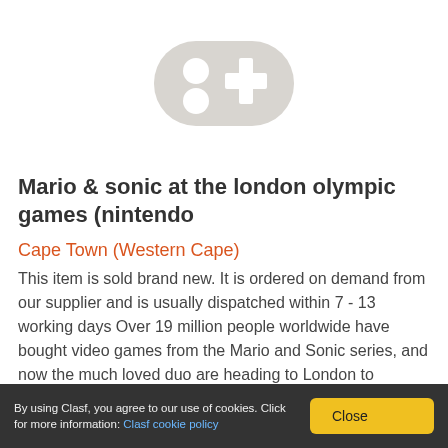[Figure (illustration): Gray placeholder gamepad/controller icon with cross button and two circular buttons on white background]
Mario & sonic at the london olympic games (nintendo
Cape Town (Western Cape)
This item is sold brand new. It is ordered on demand from our supplier and is usually dispatched within 7 - 13 working days Over 19 million people worldwide have bought video games from the Mario and Sonic series, and now the much loved duo are heading to London to
R 431
By using Clasf, you agree to our use of cookies. Click for more information: Clasf cookie policy  Close